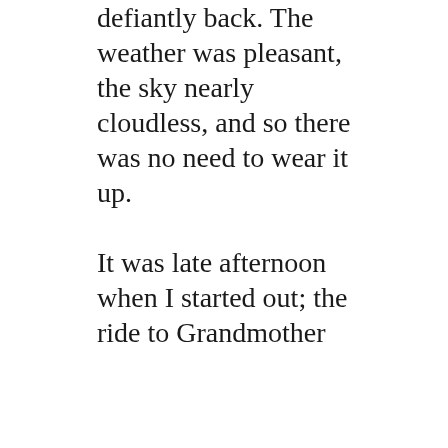defiantly back. The weather was pleasant, the sky nearly cloudless, and so there was no need to wear it up.

It was late afternoon when I started out; the ride to Grandmother